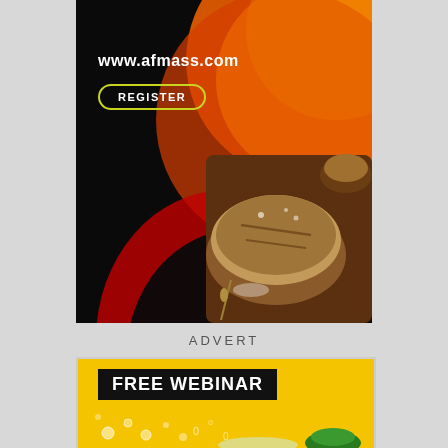[Figure (illustration): Advertisement banner with black background, orange and yellow swirl shapes top-right, bread/baked goods photo bottom-right, showing www.afmass.com URL and REGISTER button with yellow-green border]
ADVERT
[Figure (illustration): Yellow advertisement banner for a FREE WEBINAR with black title box and bubbles/liquid graphics at the bottom]